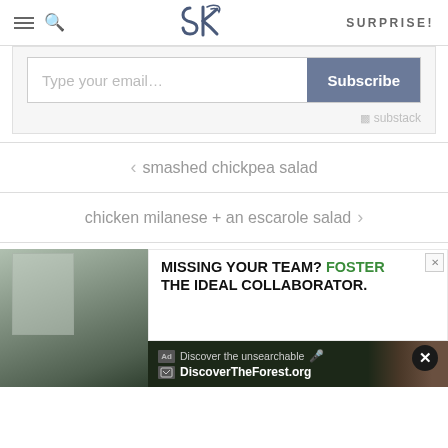SK — SURPRISE!
Type your email... Subscribe
substack
< smashed chickpea salad
chicken milanese + an escarole salad >
[Figure (infographic): Advertisement banner: 'MISSING YOUR TEAM? FOSTER THE IDEAL COLLABORATOR.' with a secondary ad bar 'Discover the unsearchable / DiscoverTheForest.org' overlaid on a forest photo background.]